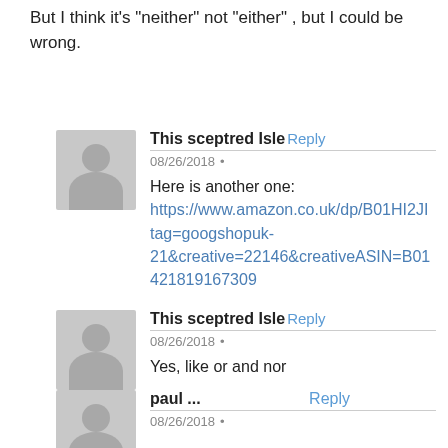But I think it's “neither” not “either” , but I could be wrong.
This sceptred Isle Reply
08/26/2018 •
Here is another one:
https://www.amazon.co.uk/dp/B01HI2JI...tag=googshopuk-21&creative=22146&creativeASIN=B01...421819167309
This sceptred Isle Reply
08/26/2018 •
Yes, like or and nor
paul ...
08/26/2018 •